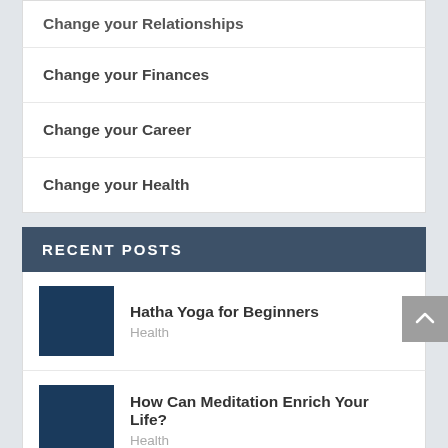Change your Relationships
Change your Finances
Change your Career
Change your Health
RECENT POSTS
Hatha Yoga for Beginners
Health
How Can Meditation Enrich Your Life?
Health
How to Take Advantage of the Recession to Start a Business